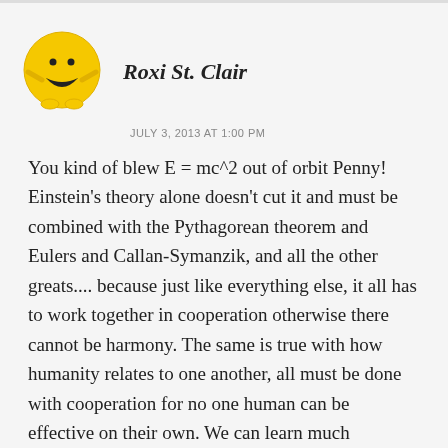Roxi St. Clair
JULY 3, 2013 AT 1:00 PM
You kind of blew E = mc^2 out of orbit Penny! Einstein's theory alone doesn't cut it and must be combined with the Pythagorean theorem and Eulers and Callan-Symanzik, and all the other greats.... because just like everything else, it all has to work together in cooperation otherwise there cannot be harmony. The same is true with how humanity relates to one another, all must be done with cooperation for no one human can be effective on their own. We can learn much from...